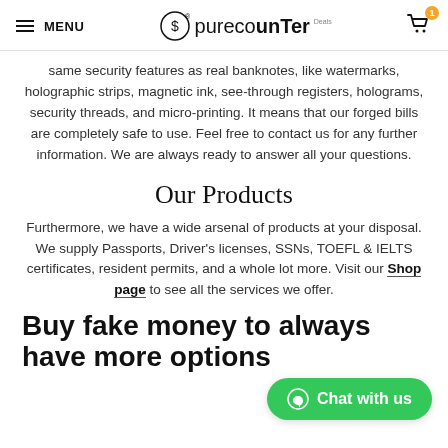MENU | purecounTer | Cart (1)
same security features as real banknotes, like watermarks, holographic strips, magnetic ink, see-through registers, holograms, security threads, and micro-printing. It means that our forged bills are completely safe to use. Feel free to contact us for any further information. We are always ready to answer all your questions.
Our Products
Furthermore, we have a wide arsenal of products at your disposal. We supply Passports, Driver’s licenses, SSNs, TOEFL & IELTS certificates, resident permits, and a whole lot more. Visit our Shop page to see all the services we offer.
Buy fake money to always have more options